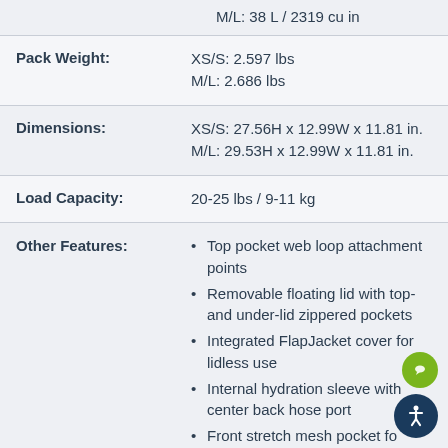M/L: 38 L / 2319 cu in
Pack Weight: XS/S: 2.597 lbs M/L: 2.686 lbs
Dimensions: XS/S: 27.56H x 12.99W x 11.81 in. M/L: 29.53H x 12.99W x 11.81 in.
Load Capacity: 20-25 lbs / 9-11 kg
Other Features:
Top pocket web loop attachment points
Removable floating lid with top- and under-lid zippered pockets
Integrated FlapJacket cover for lidless use
Internal hydration sleeve with center back hose port
Front stretch mesh pocket for stashing gear
Dual-access stretch mesh pockets
Dual strippable side